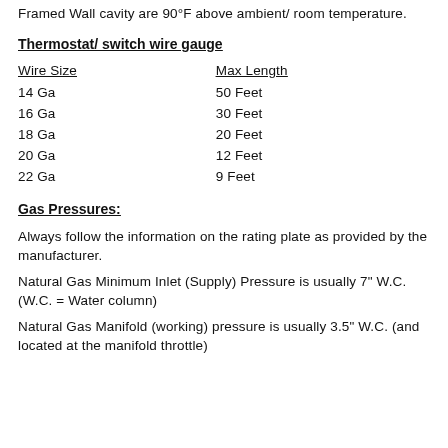Framed Wall cavity are 90°F above ambient/ room temperature.
Thermostat/ switch wire gauge
| Wire Size | Max Length |
| --- | --- |
| 14 Ga | 50 Feet |
| 16 Ga | 30 Feet |
| 18 Ga | 20 Feet |
| 20 Ga | 12 Feet |
| 22 Ga | 9 Feet |
Gas Pressures:
Always follow the information on the rating plate as provided by the manufacturer.
Natural Gas Minimum Inlet (Supply) Pressure is usually 7" W.C. (W.C. = Water column)
Natural Gas Manifold (working) pressure is usually 3.5" W.C. (and located at the manifold throttle)